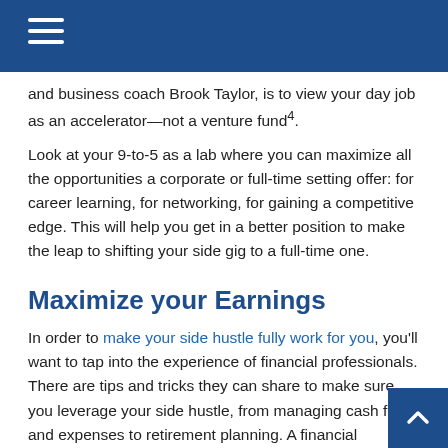and business coach Brook Taylor, is to view your day job as an accelerator—not a venture fund⁴.
Look at your 9-to-5 as a lab where you can maximize all the opportunities a corporate or full-time setting offer: for career learning, for networking, for gaining a competitive edge. This will help you get in a better position to make the leap to shifting your side gig to a full-time one.
Maximize your Earnings
In order to make your side hustle fully work for you, you'll want to tap into the experience of financial professionals. There are tips and tricks they can share to make sure you leverage your side hustle, from managing cash flow and expenses to retirement planning. A financial professional can also help you take your side hustle to the next level by